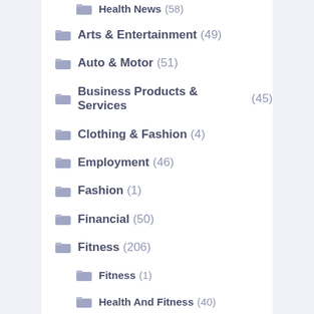Health News (58)
Arts & Entertainment (49)
Auto & Motor (51)
Business Products & Services (45)
Clothing & Fashion (4)
Employment (46)
Fashion (1)
Financial (50)
Fitness (206)
Fitness (1)
Health And Fitness (40)
Health And Wellness (39)
Health Current Events (96)